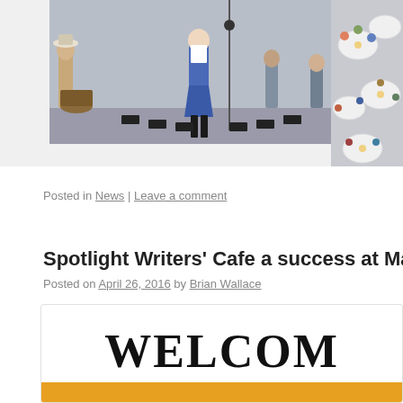[Figure (photo): Photo of people playing drums in a circle at an event, with a person in a blue and white costume standing in the background]
[Figure (photo): Photo of a banquet or event hall with round tables and people seated]
Posted in News | Leave a comment
Spotlight Writers' Cafe a success at Mand…
Posted on April 26, 2016 by Brian Wallace
[Figure (other): Welcome sign image with large bold text WELCOM (cropped) on white background with orange bar at bottom]